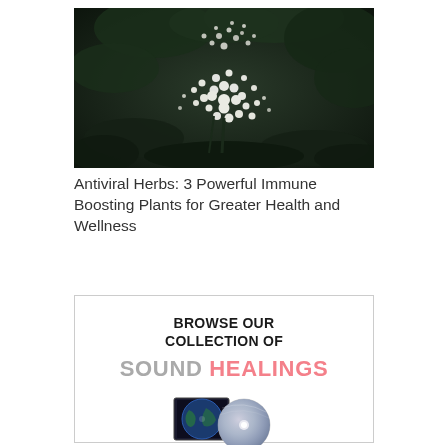[Figure (photo): Dark moody photograph of white elderflower or similar white wildflowers with dark green leaves in the background]
Antiviral Herbs: 3 Powerful Immune Boosting Plants for Greater Health and Wellness
[Figure (infographic): Advertisement box with text 'BROWSE OUR COLLECTION OF SOUND HEALINGS' with 'SOUND' in gray and 'HEALINGS' in pink, and an image of CDs/music discs at the bottom]